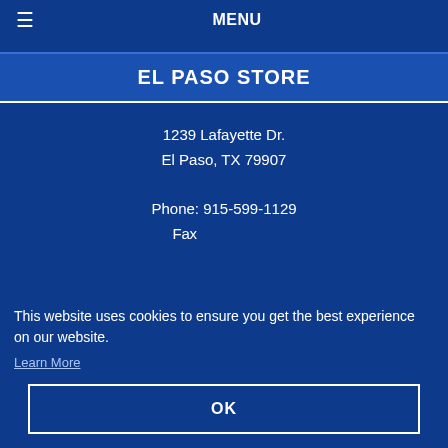≡ MENU
EL PASO STORE
1239 Lafayette Dr.
El Paso, TX 79907

Phone: 915-599-1129
Fax: 915-599-1141
This website uses cookies to ensure you get the best experience on our website.
Learn More
OK